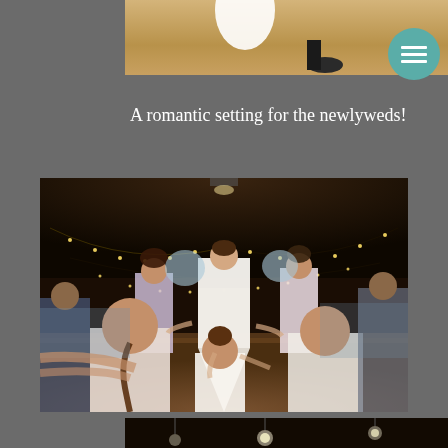[Figure (photo): Top portion of a wedding photo showing a bride in white dress on a wooden dance floor, partially cropped]
A romantic setting for the newlyweds!
[Figure (photo): Wedding reception dance floor scene with bride in white lace dress at center, surrounded by guests holding hands in a circle, string lights hanging from ceiling in a dark venue]
[Figure (photo): Bottom portion of another wedding reception photo showing a darkened venue with hanging globe lights]